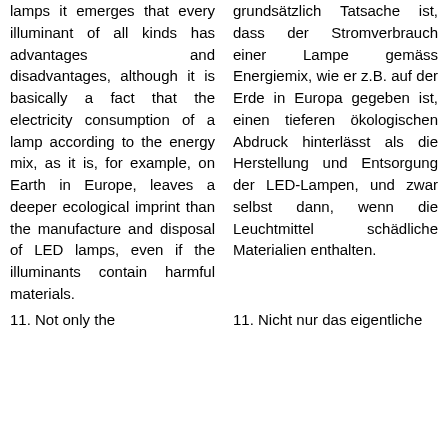lamps it emerges that every illuminant of all kinds has advantages and disadvantages, although it is basically a fact that the electricity consumption of a lamp according to the energy mix, as it is, for example, on Earth in Europe, leaves a deeper ecological imprint than the manufacture and disposal of LED lamps, even if the illuminants contain harmful materials.
grundsätzlich Tatsache ist, dass der Stromverbrauch einer Lampe gemäss Energiemix, wie er z.B. auf der Erde in Europa gegeben ist, einen tieferen ökologischen Abdruck hinterlässt als die Herstellung und Entsorgung der LED-Lampen, und zwar selbst dann, wenn die Leuchtmittel schädliche Materialien enthalten.
11. Not only the
11. Nicht nur das eigentliche